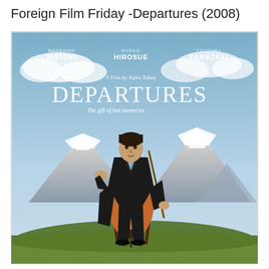Foreign Film Friday -Departures (2008)
[Figure (photo): Movie poster for 'Departures' (2008), a film by Yojiro Takita. Features a man in a dark suit sitting on a stool playing a cello outdoors with snow-capped mountains in the background and a blue sky. Text on the poster shows actor names: Masahiro Motoki, Ryoko Hirosue, Tsutomu Yamazaki. The title 'DEPARTURES' is in large white letters with subtitle 'The gift of last memories'.]